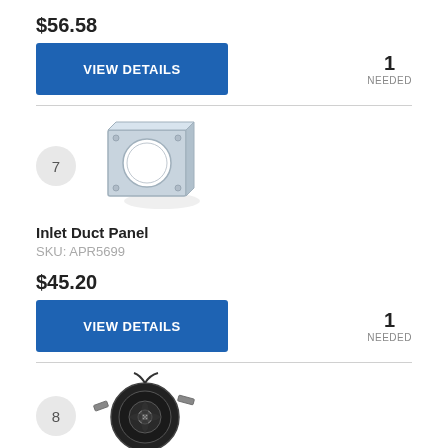$56.58
VIEW DETAILS
1 NEEDED
[Figure (photo): Item 7 - Inlet Duct Panel, a rectangular metal panel with a circular hole]
Inlet Duct Panel
SKU: APR5699
$45.20
VIEW DETAILS
1 NEEDED
[Figure (photo): Item 8 - A centrifugal fan/blower motor assembly viewed from above]